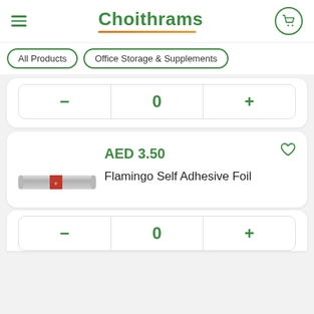Choithrams
All Products
Office Storage & Supplements
0
AED 3.50
Flamingo Self Adhesive Foil
0